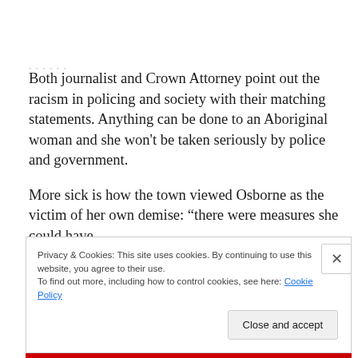Both journalist and Crown Attorney point out the racism in policing and society with their matching statements. Anything can be done to an Aboriginal woman and she won't be taken seriously by police and government.
More sick is how the town viewed Osborne as the victim of her own demise: “there were measures she could have
Privacy & Cookies: This site uses cookies. By continuing to use this website, you agree to their use.
To find out more, including how to control cookies, see here: Cookie Policy